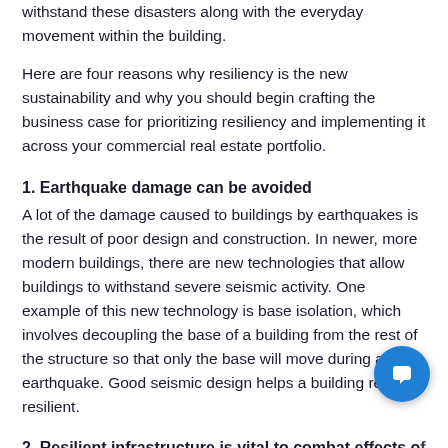withstand these disasters along with the everyday movement within the building.
Here are four reasons why resiliency is the new sustainability and why you should begin crafting the business case for prioritizing resiliency and implementing it across your commercial real estate portfolio.
1. Earthquake damage can be avoided
A lot of the damage caused to buildings by earthquakes is the result of poor design and construction. In newer, more modern buildings, there are new technologies that allow buildings to withstand severe seismic activity. One example of this new technology is base isolation, which involves decoupling the base of a building from the rest of the structure so that only the base will move during an earthquake. Good seismic design helps a building remain resilient.
2. Resilient infrastructure is vital to combat effects of climate change